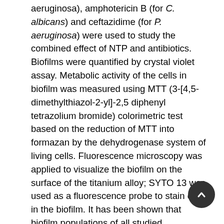aeruginosa), amphotericin B (for C. albicans) and ceftazidime (for P. aeruginosa) were used to study the combined effect of NTP and antibiotics. Biofilms were quantified by crystal violet assay. Metabolic activity of the cells in biofilm was measured using MTT (3-[4,5-dimethylthiazol-2-yl]-2,5 diphenyl tetrazolium bromide) colorimetric test based on the reduction of MTT into formazan by the dehydrogenase system of living cells. Fluorescence microscopy was applied to visualize the biofilm on the surface of the titanium alloy; SYTO 13 was used as a fluorescence probe to stain cells in the biofilm. It has been shown that biofilm populations of all studied microorganisms are very sensitive to the type of used NTP. The inhibition zone of biofilm recorded after 60 minutes exposure to NTP exceeded 20 cm², except P. aeruginosa DBM 3777 and ATCC 10145, where it was about 9 cm². Also metabolic activity of cells in biofilm differed for individual